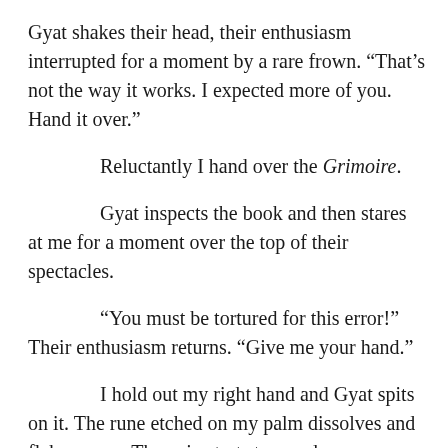Gyat shakes their head, their enthusiasm interrupted for a moment by a rare frown. “That’s not the way it works. I expected more of you. Hand it over.”
Reluctantly I hand over the Grimoire.
Gyat inspects the book and then stares at me for a moment over the top of their spectacles.
“You must be tortured for this error!” Their enthusiasm returns. “Give me your hand.”
I hold out my right hand and Gyat spits on it. The rune etched on my palm dissolves and flakes away. The pain starts to recede.
“Since you delivered the item successfully I